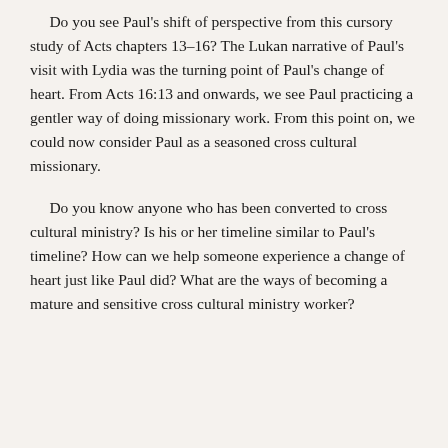Do you see Paul's shift of perspective from this cursory study of Acts chapters 13–16? The Lukan narrative of Paul's visit with Lydia was the turning point of Paul's change of heart. From Acts 16:13 and onwards, we see Paul practicing a gentler way of doing missionary work. From this point on, we could now consider Paul as a seasoned cross cultural missionary.
Do you know anyone who has been converted to cross cultural ministry? Is his or her timeline similar to Paul's timeline? How can we help someone experience a change of heart just like Paul did? What are the ways of becoming a mature and sensitive cross cultural ministry worker?